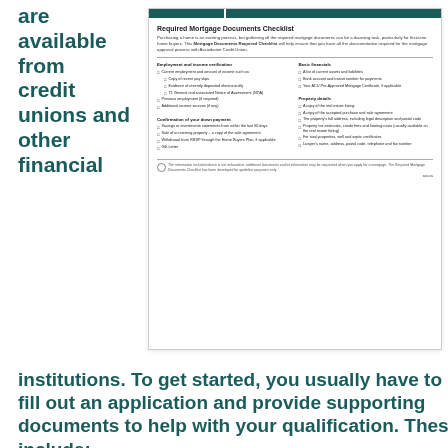are available from credit unions and other financial
[Figure (screenshot): Required Mortgage Documents Checklist document showing employment/income verification, confirmation of down payment, basic financials, and property details sections with checkboxes.]
institutions. To get started, you usually have to fill out an application and provide supporting documents to help with your qualification. These include: